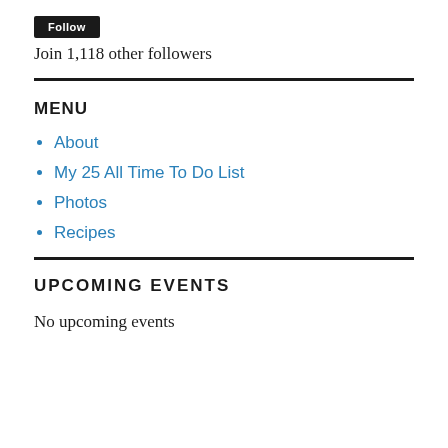[Figure (other): Dark/black button (Follow button)]
Join 1,118 other followers
MENU
About
My 25 All Time To Do List
Photos
Recipes
UPCOMING EVENTS
No upcoming events